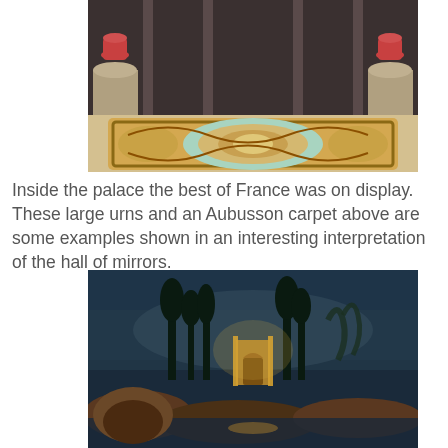[Figure (photo): Interior of a palace hall showing an ornate Aubusson carpet with floral medallion design in gold, teal, and pink, flanked by decorative urns on pedestals. Tall dark architectural columns form the background.]
Inside the palace the best of France was on display.  These large urns and an Aubusson carpet above are some examples shown in an interesting interpretation of the hall of mirrors.
[Figure (photo): A dark, atmospheric painting or illustration depicting a night scene with stone ruins or a small structure illuminated in warm light, surrounded by trees and rocky landscape under a stormy or misty dark blue sky.]